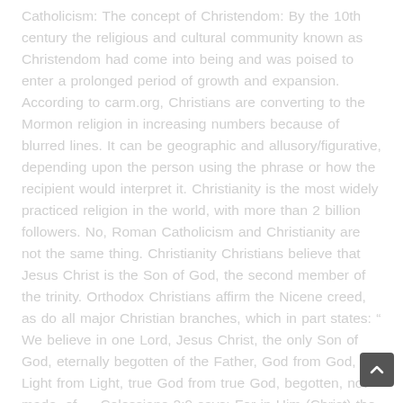Catholicism: The concept of Christendom: By the 10th century the religious and cultural community known as Christendom had come into being and was poised to enter a prolonged period of growth and expansion. According to carm.org, Christians are converting to the Mormon religion in increasing numbers because of blurred lines. It can be geographic and allusory/figurative, depending upon the person using the phrase or how the recipient would interpret it. Christianity is the most widely practiced religion in the world, with more than 2 billion followers. No, Roman Catholicism and Christianity are not the same thing. Christianity Christians believe that Jesus Christ is the Son of God, the second member of the trinity. Orthodox Christians affirm the Nicene creed, as do all major Christian branches, which in part states: “ We believe in one Lord, Jesus Christ, the only Son of God, eternally begotten of the Father, God from God, Light from Light, true God from true God, begotten, not made, of … Colossians 2:9 says: For in Him (Christ) the whole fullness of deity dwells bodily. 10/02/2015 08:23 am ET Updated Dec